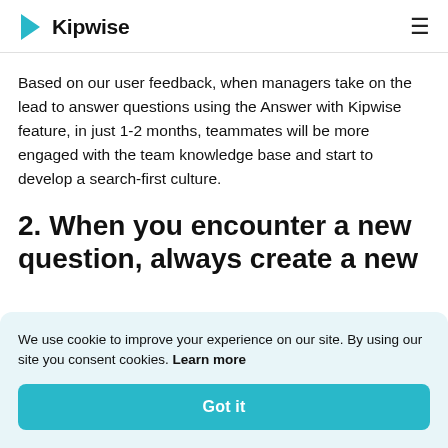Kipwise
Based on our user feedback, when managers take on the lead to answer questions using the Answer with Kipwise feature, in just 1-2 months, teammates will be more engaged with the team knowledge base and start to develop a search-first culture.
2. When you encounter a new question, always create a new
We use cookie to improve your experience on our site. By using our site you consent cookies. Learn more
Got it
your teammate's question instead of directly